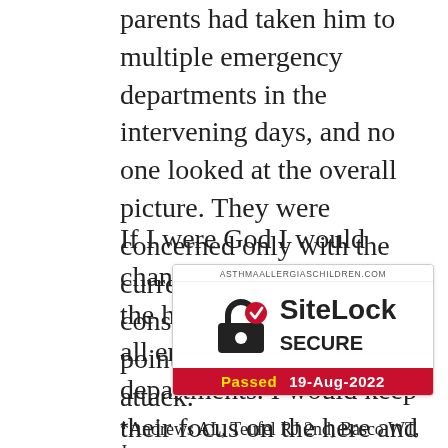parents had taken him to multiple emergency departments in the intervening days, and no one looked at the overall picture. They were concerned only with the current visit. No one considered the signs pointing to an escalating attack.
If I were God I would change the very souls of the health care workers in all emergency departments. I would keep their focus on the here and now but add the humbling realization that it's not enough. A long-term point of view with prevention in mind must be built into their thinking. Like Yogi, an ED physi… backstop, but there are other … field. They should play like a t…
[Figure (other): SiteLock SECURE badge from asthmaallergiaschildren.com. Shows a padlock icon with a red checkmark, text 'SiteLock SECURE', and a red footer bar reading 'Passed 19-Aug-2022'.]
*Andrews AL, Teufel RJ 2nd, Basco WT, Jr.